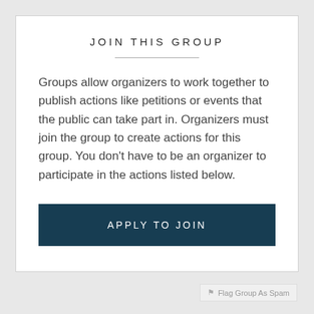JOIN THIS GROUP
Groups allow organizers to work together to publish actions like petitions or events that the public can take part in. Organizers must join the group to create actions for this group. You don't have to be an organizer to participate in the actions listed below.
APPLY TO JOIN
Flag Group As Spam